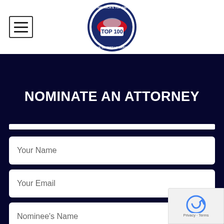[Figure (logo): America's Top 100 Civil Defense Litigators circular badge logo with eagle and TOP 100 text]
NOMINATE AN ATTORNEY
Your Name
Your Email
Nominee's Name